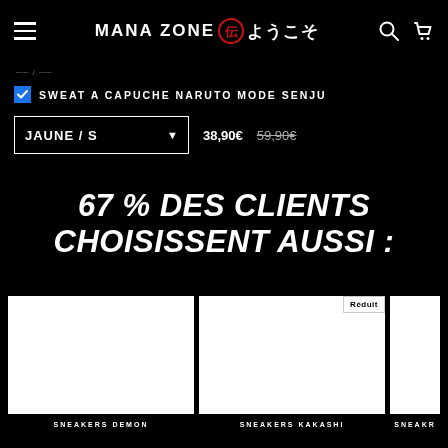MANA ZONE ようこそ
SWEAT A CAPUCHE NARUTO MODE SENJU
JAUNE / S  38,90€  59,90€
67 % DES CLIENTS CHOISISSENT AUSSI :
[Figure (photo): White product image placeholder for SNEAKERS DEMON]
SNEAKERS DEMON
[Figure (photo): White product image placeholder for SNEAKERS KAKASHI with Réduit badge]
SNEAKERS KAKASHI
[Figure (photo): White product image placeholder for third sneakers product (partially visible)]
SNEAKR